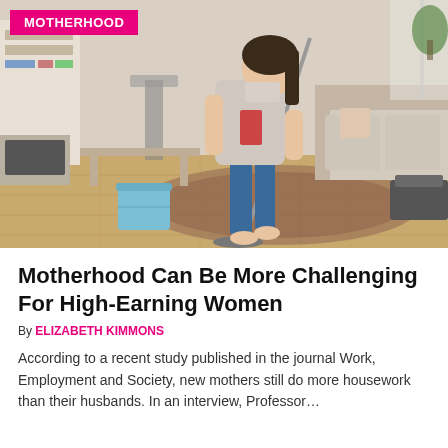[Figure (photo): Woman mopping a hardwood floor in a living room, wearing an apron, with a blue bucket nearby. Bookshelves and a sofa visible in the background.]
Motherhood Can Be More Challenging For High-Earning Women
By ELIZABETH KIMMONS
According to a recent study published in the journal Work, Employment and Society, new mothers still do more housework than their husbands. In an interview, Professor…